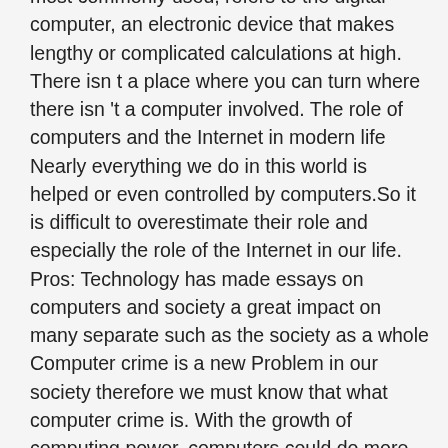most commonly used, refers to the digital computer, an electronic device that makes lengthy or complicated calculations at high. There isn t a place where you can turn where there isn 't a computer involved. The role of computers and the Internet in modern life Nearly everything we do in this world is helped or even controlled by computers.So it is difficult to overestimate their role and especially the role of the Internet in our life. Pros: Technology has made essays on computers and society a great impact on many separate such as the society as a whole Computer crime is a new Problem in our society therefore we must know that what computer crime is. With the growth of computing power, computers could do more and more tasks.. Transistors were reduced and placed on silicon chips, called semiconductors, which hugely increased the speed and productivity of computers. Computers are computing devices that are used in receiving, storing, transmitting, and retrieving